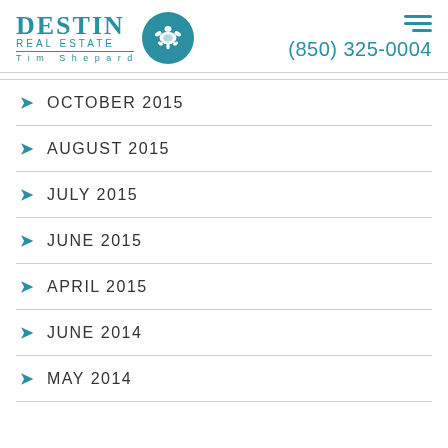[Figure (logo): Destin Real Estate Tim Shepard logo with teal turtle circle icon]
OCTOBER 2015
AUGUST 2015
JULY 2015
JUNE 2015
APRIL 2015
JUNE 2014
MAY 2014